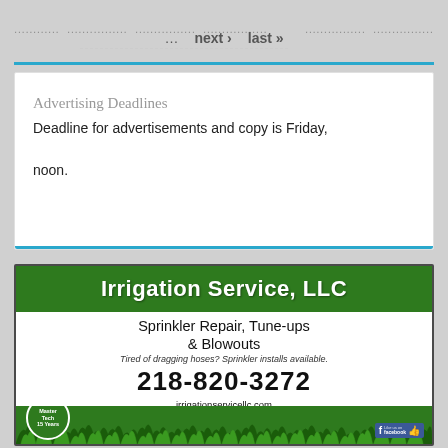… next › last »
Advertising Deadlines
Deadline for advertisements and copy is Friday, noon.
[Figure (illustration): Irrigation Service, LLC advertisement. Green header banner with company name. Lists services: Sprinkler Repair, Tune-ups & Blowouts. Tagline: Tired of dragging hoses? Sprinkler installs available. Phone: 218-820-3272. Website: irrigationservicellc.com. Email: irrigationservice4you@gmail.com. Master Tech 15 Years badge. Facebook like button. Grass graphic at bottom.]